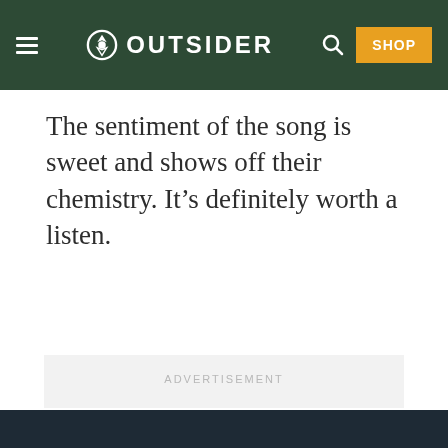OUTSIDER
The sentiment of the song is sweet and shows off their chemistry. It’s definitely worth a listen.
[Figure (other): Advertisement placeholder box with label ADVERTISEMENT]